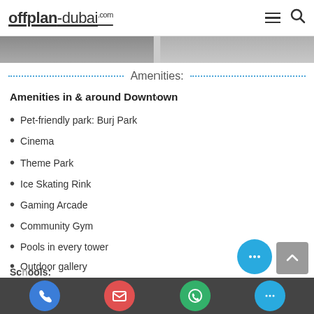offplan-dubai.com
[Figure (photo): Two partial property/building photos side by side at top of page]
Amenities:
Amenities in & around Downtown
Pet-friendly park: Burj Park
Cinema
Theme Park
Ice Skating Rink
Gaming Arcade
Community Gym
Pools in every tower
Outdoor gallery
Fitness First Platinum
Schools: